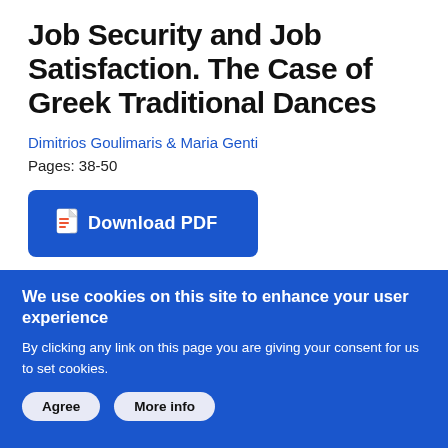Job Security and Job Satisfaction. The Case of Greek Traditional Dances
Dimitrios Goulimaris & Maria Genti
Pages: 38-50
[Figure (other): Download PDF button - blue rounded rectangle with PDF icon]
[Figure (other): Read More button - dark blue rounded rectangle]
We use cookies on this site to enhance your user experience
By clicking any link on this page you are giving your consent for us to set cookies.
Agree    More info